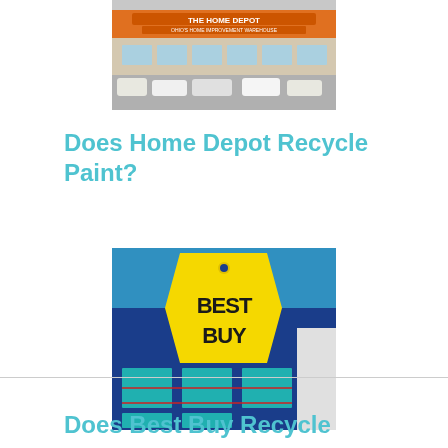[Figure (photo): Home Depot store exterior with orange sign reading 'THE HOME DEPOT - OHIO'S HOME IMPROVEMENT WAREHOUSE' and parking lot with cars]
Does Home Depot Recycle Paint?
[Figure (photo): Best Buy store exterior featuring large yellow price-tag logo with 'BEST BUY' text in black, blue building facade with teal windows]
Does Best Buy Recycle